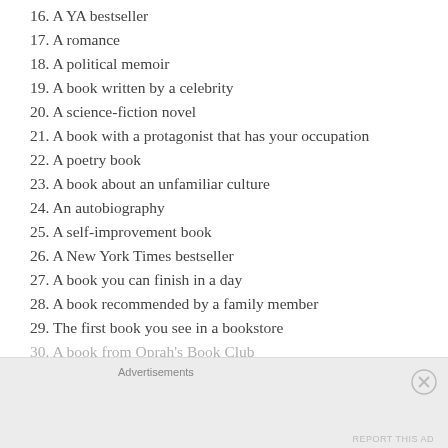16. A YA bestseller
17. A romance
18. A political memoir
19. A book written by a celebrity
20. A science-fiction novel
21. A book with a protagonist that has your occupation
22. A poetry book
23. A book about an unfamiliar culture
24. An autobiography
25. A self-improvement book
26. A New York Times bestseller
27. A book you can finish in a day
28. A book recommended by a family member
29. The first book you see in a bookstore
30. A book from Oprah's Book Club
Advertisements
REPORT THIS AD